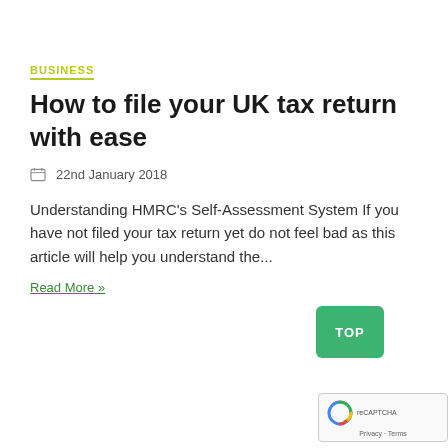BUSINESS
How to file your UK tax return with ease
22nd January 2018
Understanding HMRC's Self-Assessment System If you have not filed your tax return yet do not feel bad as this article will help you understand the...
Read More »
[Figure (other): Green TOP scroll-to-top button and Google reCAPTCHA widget with Privacy and Terms links]